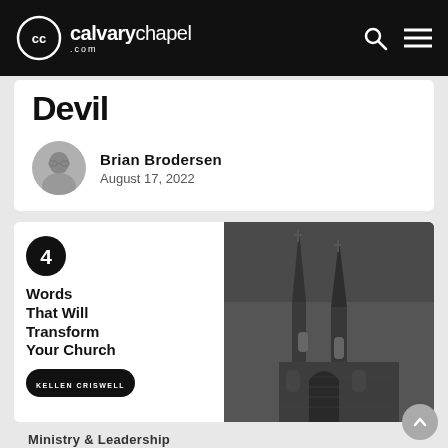calvarychapel.com
Devil
Brian Brodersen
August 17, 2022
[Figure (illustration): Article card with number 4 in black circle, title '4 Words That Will Transform Your Church', author badge 'Kellen Criswell', alongside a dark grayscale photo of a Gothic church with spires]
Ministry & Leadership